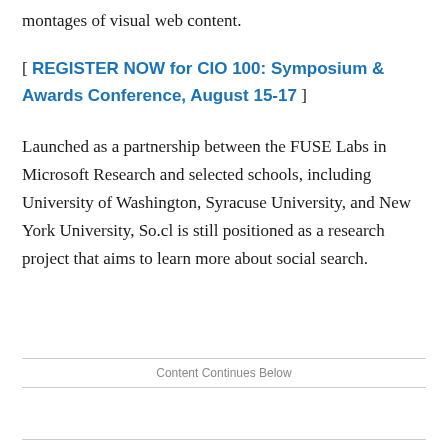montages of visual web content.
[ REGISTER NOW for CIO 100: Symposium & Awards Conference, August 15-17 ]
Launched as a partnership between the FUSE Labs in Microsoft Research and selected schools, including University of Washington, Syracuse University, and New York University, So.cl is still positioned as a research project that aims to learn more about social search.
Content Continues Below